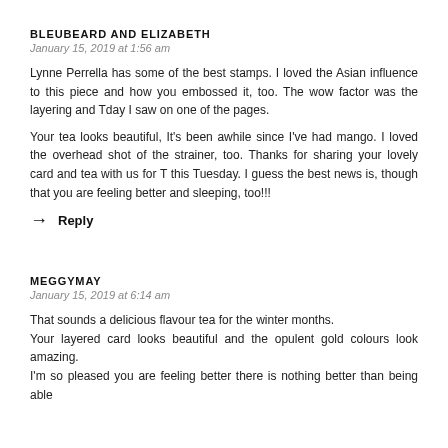BLEUBEARD AND ELIZABETH
January 15, 2019 at 1:56 am
Lynne Perrella has some of the best stamps. I loved the Asian influence to this piece and how you embossed it, too. The wow factor was the layering and Tday I saw on one of the pages.
Your tea looks beautiful, It's been awhile since I've had mango. I loved the overhead shot of the strainer, too. Thanks for sharing your lovely card and tea with us for T this Tuesday. I guess the best news is, though that you are feeling better and sleeping, too!!!
→ Reply
MEGGYMAY
January 15, 2019 at 6:14 am
That sounds a delicious flavour tea for the winter months. Your layered card looks beautiful and the opulent gold colours look amazing. I'm so pleased you are feeling better there is nothing better than being able